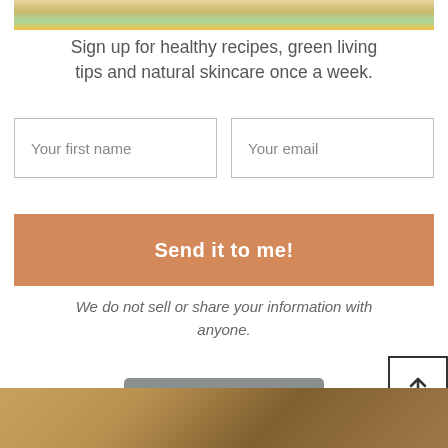[Figure (photo): Partial view of colorful food/salad with vegetables at top of page]
Sign up for healthy recipes, green living tips and natural skincare once a week.
[Figure (other): Form input fields: 'Your first name' and 'Your email' side by side]
[Figure (other): Orange/terracotta button labeled 'Send it to me!']
We do not sell or share your information with anyone.
[Figure (logo): OptinMonster logo button in gray]
[Figure (other): Back to top button with upward arrow]
[Figure (photo): Bottom food photo showing tacos or similar dish on wooden surface]